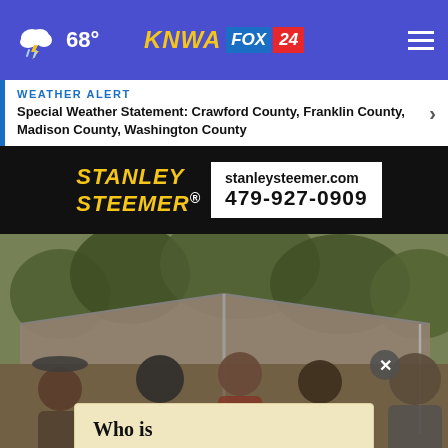68° KNWA FOX 24
WEATHER ALERT
Special Weather Statement: Crawford County, Franklin County, Madison County, Washington County
[Figure (advertisement): Stanley Steemer advertisement banner with logo, website stanleysteemer.com and phone number 479-927-0909]
[Figure (photo): Outdoor event photo showing people gathered under a large tent canopy with trees in background]
Who is